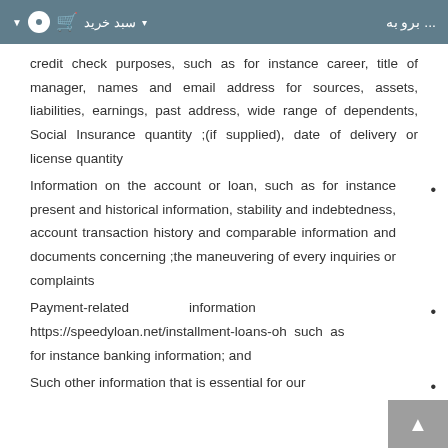بروبه ... سبد خرید
credit check purposes, such as for instance career, title of manager, names and email address for sources, assets, liabilities, earnings, past address, wide range of dependents, Social Insurance quantity ;(if supplied), date of delivery or license quantity
Information on the account or loan, such as for instance present and historical information, stability and indebtedness, account transaction history and comparable information and documents concerning ;the maneuvering of every inquiries or complaints
Payment-related information https://speedyloan.net/installment-loans-oh such as for instance banking information; and
Such other information that is essential for our